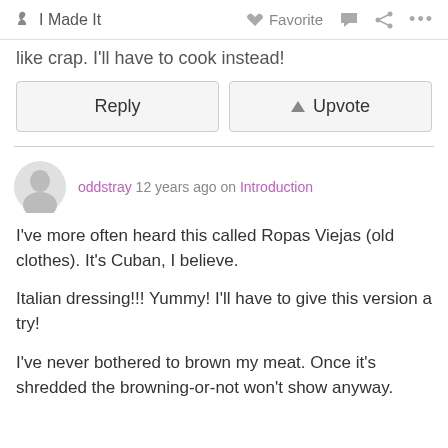I Made It  Favorite  ...
like crap.  I'll have to cook instead!
Reply  Upvote
oddstray 12 years ago on Introduction
I've more often heard this called Ropas Viejas (old clothes).  It's Cuban, I believe.

Italian dressing!!! Yummy!  I'll have to give this version a try!

I've never bothered to brown my meat.  Once it's shredded the browning-or-not won't show anyway.